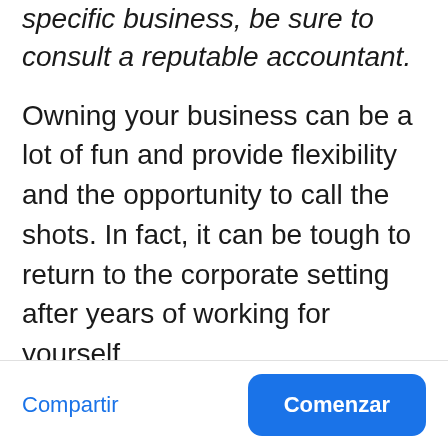specific business, be sure to consult a reputable accountant.
Owning your business can be a lot of fun and provide flexibility and the opportunity to call the shots. In fact, it can be tough to return to the corporate setting after years of working for yourself.
But with that freedom come the downsides to ownership, like when and how much to pay in taxes. These quarterly estimated taxes (QETs) can
Compartir  Comenzar